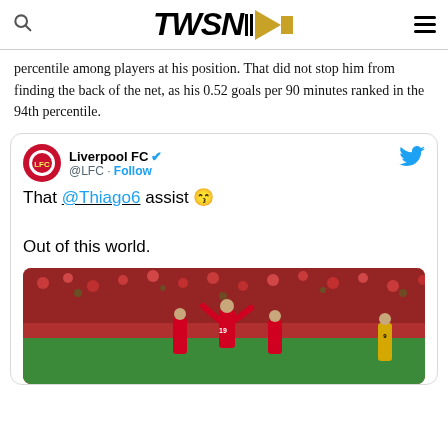TWSN
percentile among players at his position. That did not stop him from finding the back of the net, as his 0.52 goals per 90 minutes ranked in the 94th percentile.
[Figure (screenshot): Embedded tweet from Liverpool FC (@LFC) saying: That @Thiago6 assist 😙 Out of this world. With a photo of Liverpool players celebrating in red kit against a crowd background, with an opposing player in yellow visible.]